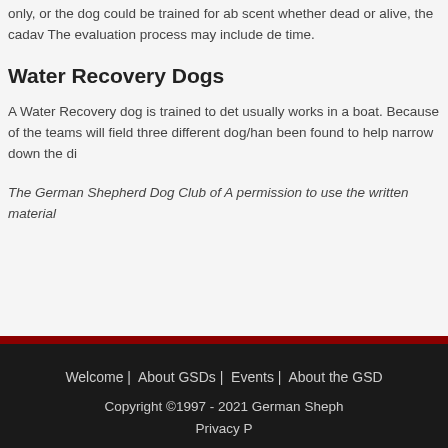only, or the dog could be trained for ab scent whether dead or alive, the cadav The evaluation process may include de time.
Water Recovery Dogs
A Water Recovery dog is trained to det usually works in a boat. Because of the teams will field three different dog/han been found to help narrow down the di
The German Shepherd Dog Club of A permission to use the written material
Welcome | About GSDs | Events | About the GSD Copyright ©1997 - 2021 German Sheph Privacy P